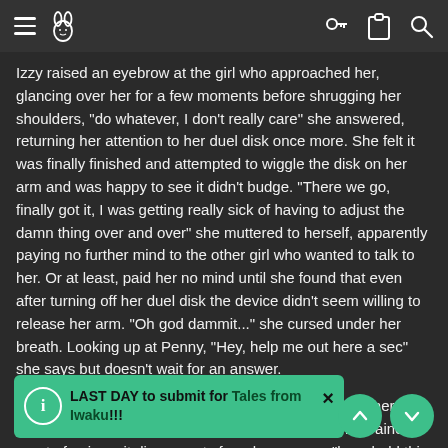Navigation header with hamburger menu, rabbit icon, key icon, clipboard icon, and search icon
Izzy raised an eyebrow at the girl who approached her, glancing over her for a few moments before shrugging her shoulders, "do whatever, I don't really care" she answered, returning her attention to her duel disk once more. She felt it was finally finished and attempted to wiggle the disk on her arm and was happy to see it didn't budge. "There we go, finally got it, I was getting really sick of having to adjust the damn thing over and over" she muttered to herself, apparently paying no further mind to the other girl who wanted to talk to her. Or at least, paid her no mind until she found that even after turning off her duel disk the device didn't seem willing to release her arm. "Oh god dammit..." she cursed under her breath. Looking up at Penny, "Hey, help me out here a sec" she says but doesn't wait for an answer.
With a quick motion she reaches up to her shoulder where her artificial arm connects and tugs it off, letting out a restrained grunt of pain as it disconnects from her nerves. "here hold this a sec, I gotta fix it [explains as she th [gets to work re [e it [an talk to someone or whatever? Otherwise I doubt you'd have bothered
LAST DAY to submit for Tales from Iwaku!!!